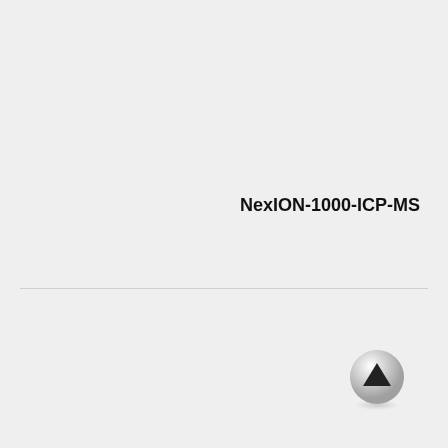NexION-1000-ICP-MS
ادامه مطلب
[Figure (other): Scroll-to-top button with upward-pointing triangle arrow icon on a silver circular button]
پشتیبانی آنلاین